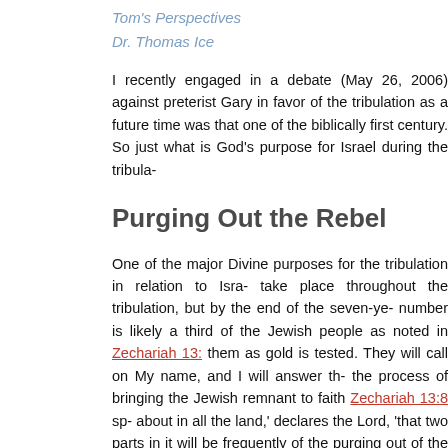Tom's Perspectives
Dr. Thomas Ice
I recently engaged in a debate (May 26, 2006) against preterist Gary in favor of the tribulation as a future time was that one of the biblically first century. So just what is God's purpose for Israel during the tribula-
Purging Out the Rebel
One of the major Divine purposes for the tribulation in relation to Isra- take place throughout the tribulation, but by the end of the seven-ye- number is likely a third of the Jewish people as noted in Zechariah 13: them as gold is tested. They will call on My name, and I will answer th- the process of bringing the Jewish remnant to faith Zechariah 13:8 sp- about in all the land,' declares the Lord, 'that two parts in it will be frequently of the purging out of the Jewish non-elect during the tribula-
Ezekiel 20:33-38 is a major passage that speaks of a Jewish regathe- the purging of the non-elect Israelites called in this passage "the rebe- an outstretched arm and with wrath poured out, I shall be king over yo- are scattered, with a mighty hand and with an outstretched arm and w- shall enter into judgment with you face to face. As I entered into jud-